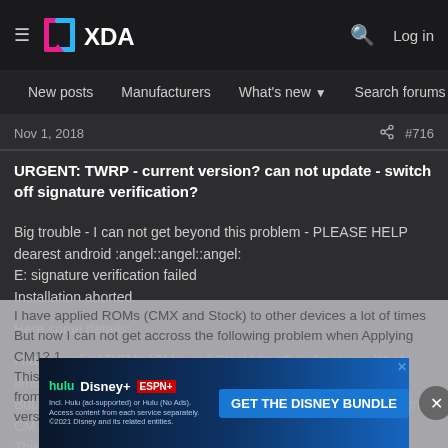XDA Developers — Log in
New posts  Manufacturers  What's new  Search forums  Membe  >
Nov 1, 2018   #716
URGENT: TWRP - current version? can not update - switch off signature verification?
Big trouble - I can not get beyond this problem - PLEASE HELP dearest android :angel::angel::angel:
E: signature verification failed
Installation aborted.

Here some details:

I have applied ROMs (CMX and Stock) to other devices a lot of times
But now I can not get accross the following problem when Applying CM12.1...
This tim... mber from a w... ...e touch version back then)
[Figure (screenshot): Disney Bundle advertisement banner showing Hulu, Disney+, ESPN+ logos with GET THE DISNEY BUNDLE call to action]